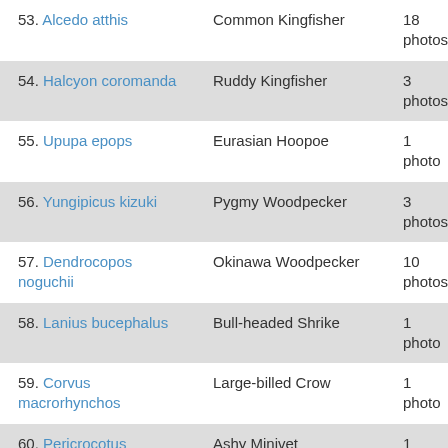53. Alcedo atthis — Common Kingfisher — 18 photos
54. Halcyon coromanda — Ruddy Kingfisher — 3 photos
55. Upupa epops — Eurasian Hoopoe — 1 photo
56. Yungipicus kizuki — Pygmy Woodpecker — 3 photos
57. Dendrocopos noguchii — Okinawa Woodpecker — 10 photos
58. Lanius bucephalus — Bull-headed Shrike — 1 photo
59. Corvus macrorhynchos — Large-billed Crow — 1 photo
60. Pericrocotus divaricatus — Ashy Minivet — 1 photo
61. Monticola solitarius — Blue Rock-Thrush — 4 photos